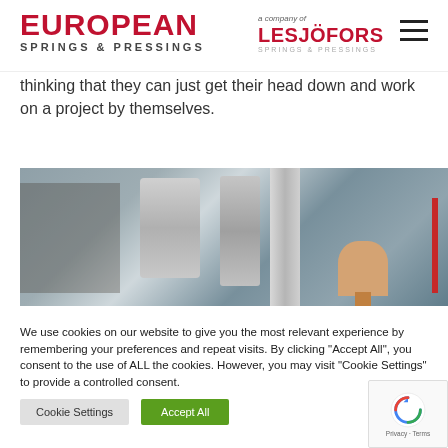[Figure (logo): European Springs & Pressings logo in red and dark text, alongside Lesjofors company logo and hamburger menu icon]
thinking that they can just get their head down and work on a project by themselves.
[Figure (photo): Photo of a person working in an industrial environment with ductwork and piping overhead]
We use cookies on our website to give you the most relevant experience by remembering your preferences and repeat visits. By clicking "Accept All", you consent to the use of ALL the cookies. However, you may visit "Cookie Settings" to provide a controlled consent.